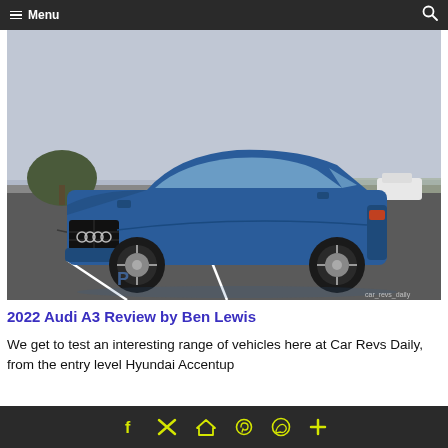≡ Menu
[Figure (photo): A blue 2022 Audi A3 parked in an empty parking lot under a cloudy sky, with trees visible in the background and another white vehicle in the distance. Watermark reads car_revs_daily.]
2022 Audi A3 Review by Ben Lewis
We get to test an interesting range of vehicles here at Car Revs Daily, from the entry level Hyundai Accentup
f  𝕏  🏠  𝒫  ©  +